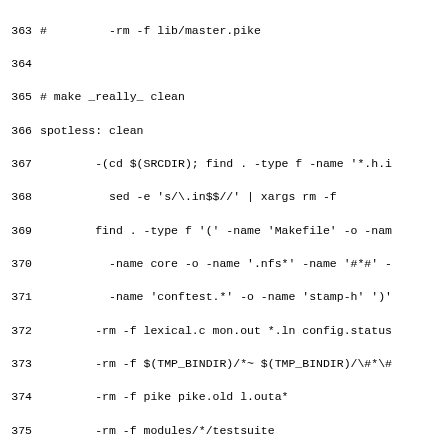363	#	-rm -f lib/master.pike
364
365	# make _really_ clean
366	spotless: clean
367		-(cd $(SRCDIR); find . -type f -name '*.h.i
368		  sed -e 's/\.in$$//' | xargs rm -f
369		find . -type f '(' -name 'Makefile' -o -nam
370		  -name core -o -name '.nfs*' -name '#*#' -
371		  -name 'conftest.*' -o -name 'stamp-h' ')'
372		-rm -f lexical.c mon.out *.ln config.status
373		-rm -f $(TMP_BINDIR)/*~ $(TMP_BINDIR)/\#*\#
374		-rm -f pike pike.old l.outa*
375		-rm -f modules/*/testsuite
376		-rm -f modules/static_module_makefile modul
377		-rm -rf lib
378
379	distclean: spotless
380		find . -type f '(' -name 'config.log' -o -n
381		  -name 'config.cache' ')' -exec rm -f \{\}
382
383	cvsclean: distclean
384		( for d in `cd $(SRCDIR); find . -type d -p
385		    if test -f "$(SRCDIR)/$$d/.cvsignore" ;
386		      (cd "$$d" && rm -f `cat "$(SRCDIR)/$$
387		      (cd "$(SRCDIR)/$$d" && rm -f `cat "$(
388		    else :; fi; \
389		    done; )